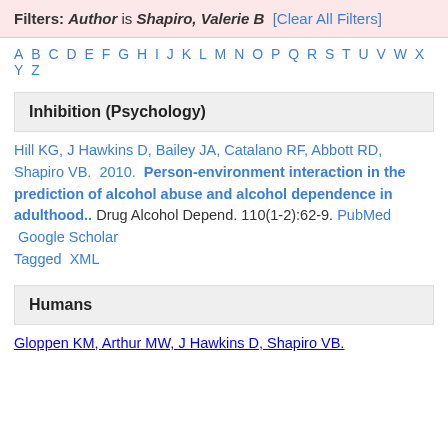Filters: Author is Shapiro, Valerie B [Clear All Filters]
A B C D E F G H I J K L M N O P Q R S T U V W X Y Z
Inhibition (Psychology)
Hill KG, J Hawkins D, Bailey JA, Catalano RF, Abbott RD, Shapiro VB.  2010.  Person-environment interaction in the prediction of alcohol abuse and alcohol dependence in adulthood..  Drug Alcohol Depend. 110(1-2):62-9. PubMed  Google Scholar  Tagged  XML
Humans
Gloppen KM, Arthur MW, J Hawkins D, Shapiro VB.